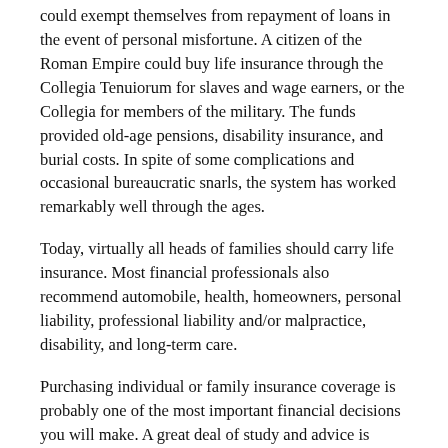could exempt themselves from repayment of loans in the event of personal misfortune. A citizen of the Roman Empire could buy life insurance through the Collegia Tenuiorum for slaves and wage earners, or the Collegia for members of the military. The funds provided old-age pensions, disability insurance, and burial costs. In spite of some complications and occasional bureaucratic snarls, the system has worked remarkably well through the ages.
Today, virtually all heads of families should carry life insurance. Most financial professionals also recommend automobile, health, homeowners, personal liability, professional liability and/or malpractice, disability, and long-term care.
Purchasing individual or family insurance coverage is probably one of the most important financial decisions you will make. A great deal of study and advice is needed to choose wisely. A few basic guidelines can safely be applied to most consumers.